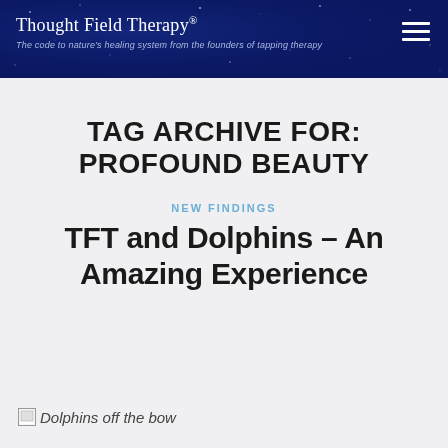Thought Field Therapy® — The code to nature's healing system from the founders of tapping therapy
TAG ARCHIVE FOR: PROFOUND BEAUTY
NEW FINDINGS
TFT and Dolphins – An Amazing Experience
[Figure (photo): Broken image placeholder with alt text 'Dolphins off the bow']